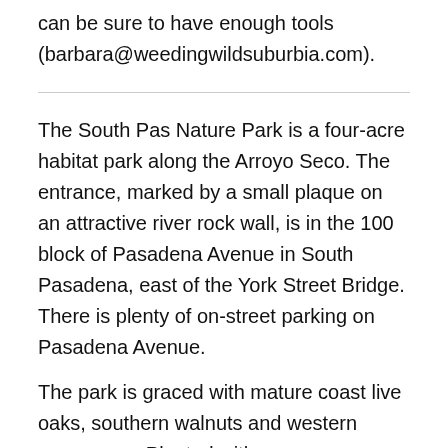can be sure to have enough tools (barbara@weedingwildsuburbia.com).
The South Pas Nature Park is a four-acre habitat park along the Arroyo Seco. The entrance, marked by a small plaque on an attractive river rock wall, is in the 100 block of Pasadena Avenue in South Pasadena, east of the York Street Bridge. There is plenty of on-street parking on Pasadena Avenue.
The park is graced with mature coast live oaks, southern walnuts and western sycamores. Planted with sage, buckwheat and other native coastal sage scrub plants, the park provides many visiting